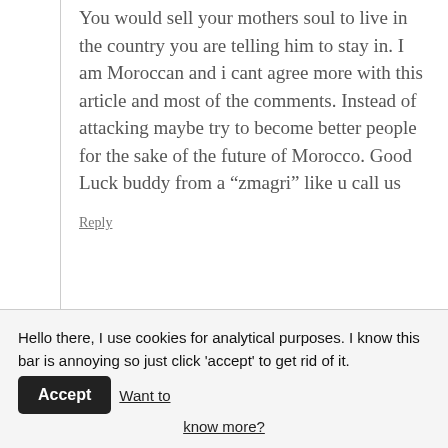You would sell your mothers soul to live in the country you are telling him to stay in. I am Moroccan and i cant agree more with this article and most of the comments. Instead of attacking maybe try to become better people for the sake of the future of Morocco. Good Luck buddy from a “zmagri” like u call us
Reply
Hello there, I use cookies for analytical purposes. I know this bar is annoying so just click 'accept' to get rid of it.  Accept   Want to know more?